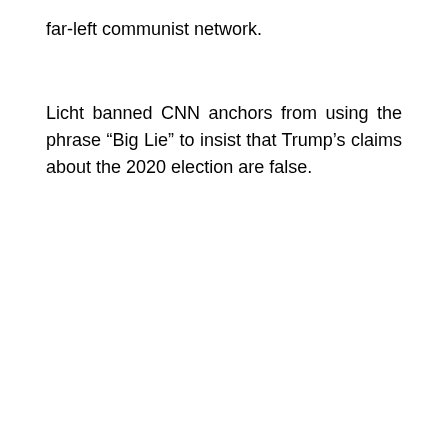far-left communist network.
Licht banned CNN anchors from using the phrase “Big Lie” to insist that Trump’s claims about the 2020 election are false.